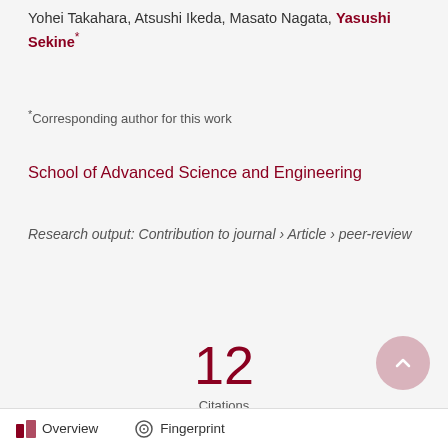Yohei Takahara, Atsushi Ikeda, Masato Nagata, Yasushi Sekine*
*Corresponding author for this work
School of Advanced Science and Engineering
Research output: Contribution to journal › Article › peer-review
12
Citations
(Scopus)
Overview   Fingerprint